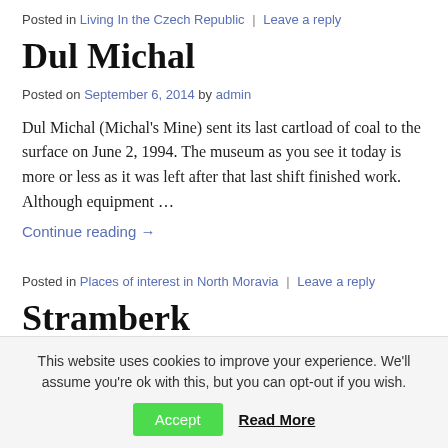Posted in Living In the Czech Republic | Leave a reply
Dul Michal
Posted on September 6, 2014 by admin
Dul Michal (Michal's Mine) sent its last cartload of coal to the surface on June 2, 1994. The museum as you see it today is more or less as it was left after that last shift finished work. Although equipment …
Continue reading →
Posted in Places of interest in North Moravia | Leave a reply
Stramberk
This website uses cookies to improve your experience. We'll assume you're ok with this, but you can opt-out if you wish.
Accept  Read More